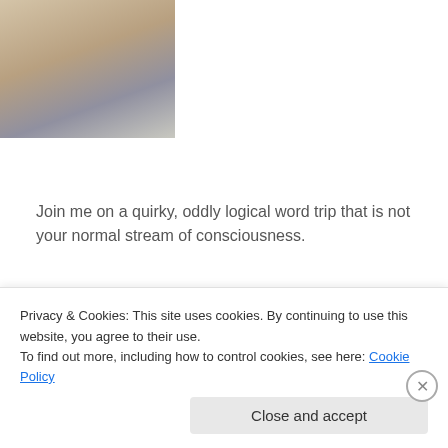[Figure (photo): Photo of a woman at a beach, cropped at the top, with sandy beach background]
Join me on a quirky, oddly logical word trip that is not your normal stream of consciousness.
Follow me!
Enter your email address to receive my new posts in your inbox. No worries - you won't get inundated with email, just my quirky missives.
Privacy & Cookies: This site uses cookies. By continuing to use this website, you agree to their use.
To find out more, including how to control cookies, see here: Cookie Policy